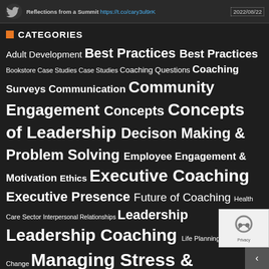Reflections from a Summit https://t.co/cary3ul9rK 2022/08/22
CATEGORIES
Adult Development Best Practices Best Practices Bookstore Case Studies Case Studies Coaching Questions Coaching Surveys Communication Community Engagement Concepts Concepts of Leadership Decison Making & Problem Solving Employee Engagement & Motivation Ethics Executive Coaching Executive Presence Future of Coaching Health Care Sector Interpersonal Relationships Leadership Leadership Coaching Life Planning Managing Change Managing Stress & Challenges Marketing Neurosciences: Brain & Behavior Organizational Theory Organiz De (OD) Performance Personal & Life Coaching Research Resources Return on Investment Strategies Su